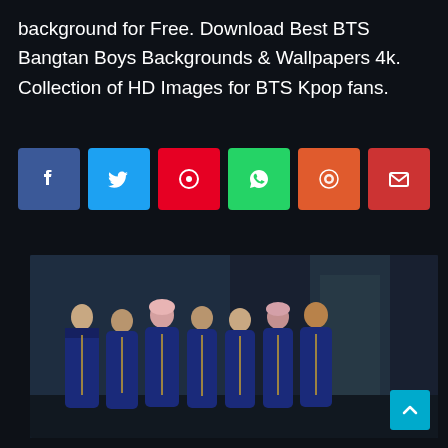background for Free. Download Best BTS Bangtan Boys Backgrounds & Wallpapers 4k. Collection of HD Images for BTS Kpop fans.
[Figure (infographic): Social share buttons row: Facebook (blue), Twitter (light blue), Pinterest (red), WhatsApp (green), Reddit (orange-red), Email (dark red)]
[Figure (photo): Group photo of 7 BTS Bangtan Boys members wearing blue velvet military-style jackets, posed in a line against a dark studio background]